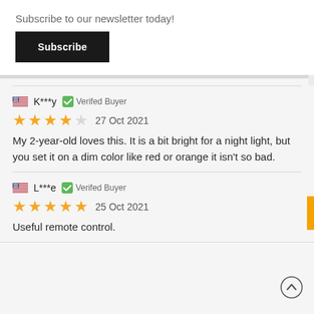Subscribe to our newsletter today!
Subscribe
K***y  Verifed Buyer
27 Oct 2021
My 2-year-old loves this. It is a bit bright for a night light, but you set it on a dim color like red or orange it isn't so bad.
L***e  Verifed Buyer
25 Oct 2021
Useful remote control.